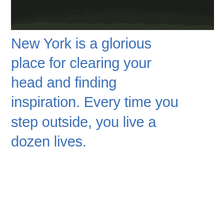[Figure (photo): Dark nighttime or dusk landscape photo showing silhouettes of trees or tall grass against a very dark sky, appearing as a wide panoramic strip at the top of the page.]
New York is a glorious place for clearing your head and finding inspiration. Every time you step outside, you live a dozen lives.